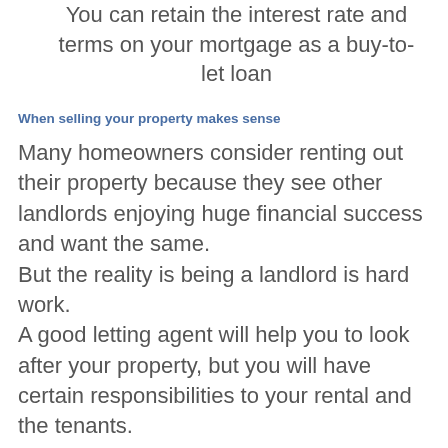You can retain the interest rate and terms on your mortgage as a buy-to-let loan
When selling your property makes sense
Many homeowners consider renting out their property because they see other landlords enjoying huge financial success and want the same.
But the reality is being a landlord is hard work.
A good letting agent will help you to look after your property, but you will have certain responsibilities to your rental and the tenants.
Therefore there could be some reasons to selling your property could be a sensible